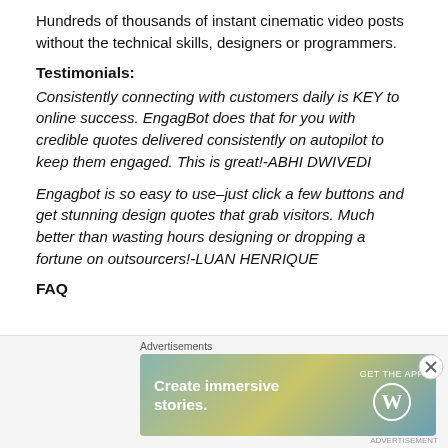Hundreds of thousands of instant cinematic video posts without the technical skills, designers or programmers.
Testimonials:
Consistently connecting with customers daily is KEY to online success. EngagBot does that for you with credible quotes delivered consistently on autopilot to keep them engaged. This is great!-ABHI DWIVEDI
Engagbot is so easy to use–just click a few buttons and get stunning design quotes that grab visitors. Much better than wasting hours designing or dropping a fortune on outsourcers!-LUAN HENRIQUE
FAQ
[Figure (screenshot): Advertisement banner: 'Create immersive stories. GET THE APP' with WordPress logo, on a gradient teal/yellow background. Labeled 'Advertisements' above.]